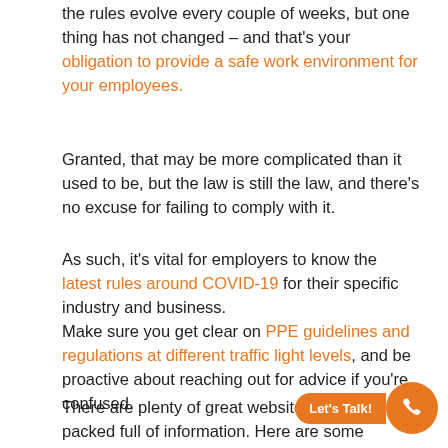the rules evolve every couple of weeks, but one thing has not changed – and that's your obligation to provide a safe work environment for your employees.
Granted, that may be more complicated than it used to be, but the law is still the law, and there's no excuse for failing to comply with it.
As such, it's vital for employers to know the latest rules around COVID-19 for their specific industry and business.
Make sure you get clear on PPE guidelines and regulations at different traffic light levels, and be proactive about reaching out for advice if you're confused.
There are plenty of great websites out there packed full of information. Here are some excellent resources to get started if you need a little extra insight: